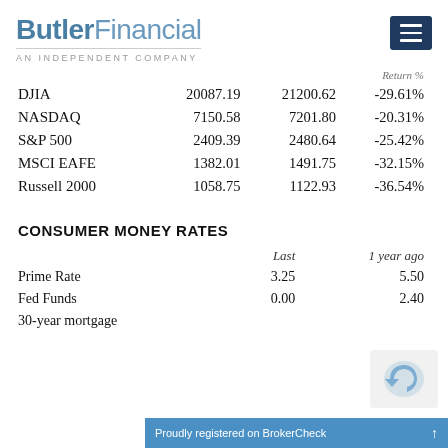ButlerFinancial AN INDEPENDENT COMPANY
|  |  |  | Return % |
| --- | --- | --- | --- |
| DJIA | 20087.19 | 21200.62 | -29.61% |
| NASDAQ | 7150.58 | 7201.80 | -20.31% |
| S&P 500 | 2409.39 | 2480.64 | -25.42% |
| MSCI EAFE | 1382.01 | 1491.75 | -32.15% |
| Russell 2000 | 1058.75 | 1122.93 | -36.54% |
CONSUMER MONEY RATES
|  | Last | 1 year ago |
| --- | --- | --- |
| Prime Rate | 3.25 | 5.50 |
| Fed Funds | 0.00 | 2.40 |
| 30-year mortgage |  |  |
Proudly registered on BrokerCheck ↑